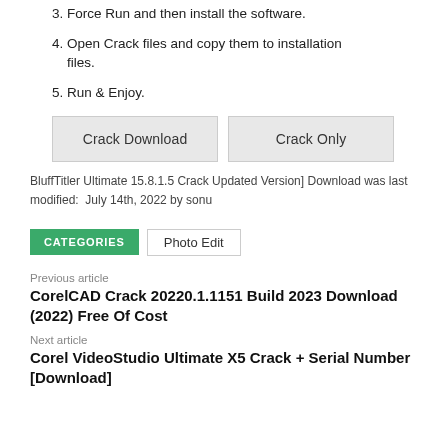3. Force Run and then install the software.
4. Open Crack files and copy them to installation files.
5. Run & Enjoy.
[Figure (other): Two buttons: 'Crack Download' and 'Crack Only']
BluffTitler Ultimate 15.8.1.5 Crack Updated Version] Download was last modified: July 14th, 2022 by sonu
CATEGORIES  Photo Edit
Previous article
CorelCAD Crack 20220.1.1151 Build 2023 Download (2022) Free Of Cost
Next article
Corel VideoStudio Ultimate X5 Crack + Serial Number [Download]